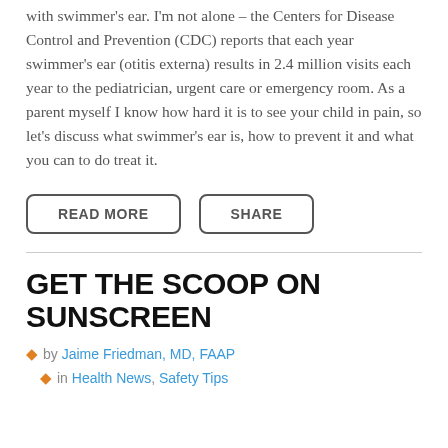with swimmer's ear. I'm not alone – the Centers for Disease Control and Prevention (CDC) reports that each year swimmer's ear (otitis externa) results in 2.4 million visits each year to the pediatrician, urgent care or emergency room. As a parent myself I know how hard it is to see your child in pain, so let's discuss what swimmer's ear is, how to prevent it and what you can to do treat it.
READ MORE
SHARE
GET THE SCOOP ON SUNSCREEN
by Jaime Friedman, MD, FAAP
in Health News, Safety Tips